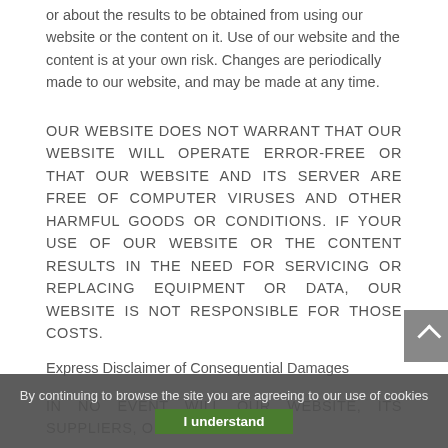or about the results to be obtained from using our website or the content on it. Use of our website and the content is at your own risk. Changes are periodically made to our website, and may be made at any time.
OUR WEBSITE DOES NOT WARRANT THAT OUR WEBSITE WILL OPERATE ERROR-FREE OR THAT OUR WEBSITE AND ITS SERVER ARE FREE OF COMPUTER VIRUSES AND OTHER HARMFUL GOODS OR CONDITIONS. IF YOUR USE OF OUR WEBSITE OR THE CONTENT RESULTS IN THE NEED FOR SERVICING OR REPLACING EQUIPMENT OR DATA, OUR WEBSITE IS NOT RESPONSIBLE FOR THOSE COSTS.
Express Disclaimer of Consequential Damages
IN NO EVENT WILL OUR WEBSITE, ITS SUPPLIERS, OR
By continuing to browse the site you are agreeing to our use of cookies
I understand